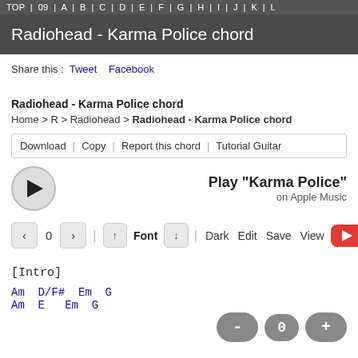TOP | 09 | A | B | C | D | E | F | G | H | I | J | K | L
Radiohead - Karma Police chord
Share this : Tweet   Facebook
Radiohead - Karma Police chord
Home > R > Radiohead > Radiohead - Karma Police chord
Download | Copy | Report this chord | Tutorial Guitar
Play "Karma Police" on Apple Music
◄ 0 ► | ↑ Font ↓ Dark Edit Save View
[Intro]
Am D/F# Em G
Am E Em G